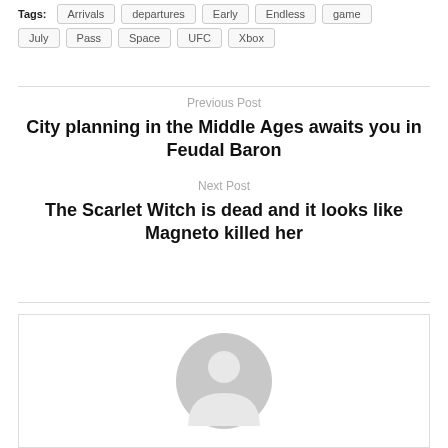Tags: Arrivals  departures  Early  Endless  game  July  Pass  Space  UFC  Xbox
Previous Post
City planning in the Middle Ages awaits you in Feudal Baron
Next Post
The Scarlet Witch is dead and it looks like Magneto killed her
[Figure (illustration): Generic user avatar placeholder icon — a grey circle with a simplified person silhouette inside]